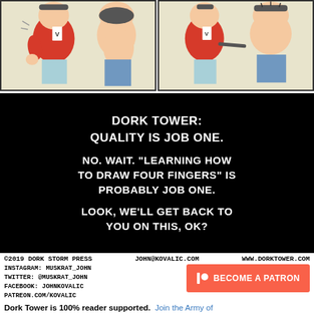[Figure (illustration): Two comic strip panels showing cartoon characters: left panel has a character in red jacket with a badge, right panel shows similar scene with two characters]
[Figure (illustration): Black panel with white hand-lettered text: 'DORK TOWER: QUALITY IS JOB ONE. NO. WAIT. "LEARNING HOW TO DRAW FOUR FINGERS" IS PROBABLY JOB ONE. LOOK, WE'LL GET BACK TO YOU ON THIS, OK?']
©2019 DORK STORM PRESS   JOHN@KOVALIC.COM   WWW.DORKTOWER.COM
INSTAGRAM: MUSKRAT_JOHN
TWITTER: @MUSKRAT_JOHN
FACEBOOK: JOHNKOVALIC
PATREON.COM/KOVALIC
BECOME A PATRON
Dork Tower is 100% reader supported.  Join the Army of